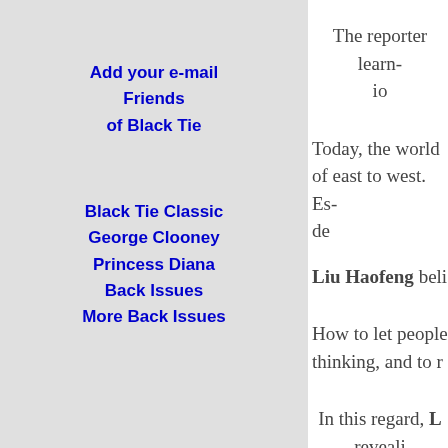Add your e-mail Friends of Black Tie
Black Tie Classic
George Clooney
Princess Diana
Back Issues
More Back Issues
The reporter learn- io
Today, the world of east to west. Es- de
Liu Haofeng beli
How to let people thinking, and to r
In this regard, L reveali